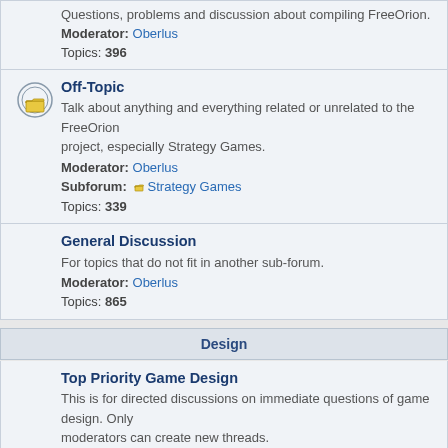Questions, problems and discussion about compiling FreeOrion. Moderator: Oberlus Topics: 396
Off-Topic
Talk about anything and everything related or unrelated to the FreeOrion project, especially Strategy Games.
Moderator: Oberlus
Subforum: Strategy Games
Topics: 339
General Discussion
For topics that do not fit in another sub-forum.
Moderator: Oberlus
Topics: 865
Design
Top Priority Game Design
This is for directed discussions on immediate questions of game design. Only moderators can create new threads.
Topics: 23
Other Game Design
For what's not in 'Top Priority Game Design'. Post your ideas, visions, suggestions for the game, rules, modifications, etc.
Moderator: Oberlus
Topics: 1629
Story
Species suggestions, story ideas and contributions.
Topics: 183
Design Archive
Past public reviews and discussions.
Topics: 50
Development